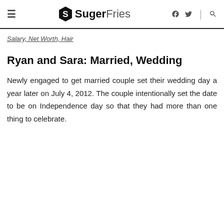≡ SugerFries f 🐦 | 🔍
Salary, Net Worth, Hair
Ryan and Sara: Married, Wedding
Newly engaged to get married couple set their wedding day a year later on July 4, 2012. The couple intentionally set the date to be on Independence day so that they had more than one thing to celebrate.